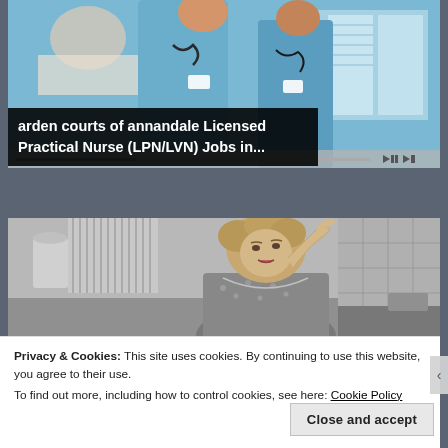[Figure (screenshot): Video screenshot showing nurses in blue scrubs with stethoscopes attending to a patient, with video playback controls visible at bottom]
arden courts of annandale Licensed Practical Nurse (LPN/LVN) Jobs in...
[Figure (photo): Black and white vintage photo of a woman in a kitchen or domestic setting, hand raised to forehead in a distressed or tired pose]
Privacy & Cookies: This site uses cookies. By continuing to use this website, you agree to their use.
To find out more, including how to control cookies, see here: Cookie Policy
Close and accept